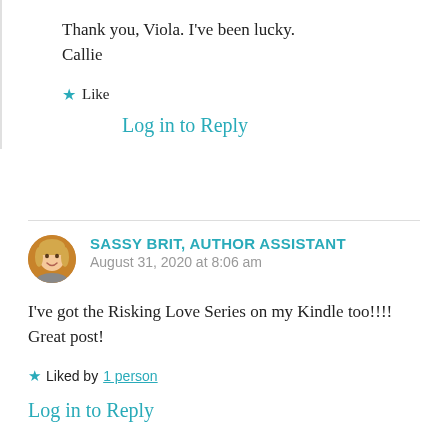Thank you, Viola. I've been lucky.
Callie
★ Like
Log in to Reply
SASSY BRIT, AUTHOR ASSISTANT
August 31, 2020 at 8:06 am
I've got the Risking Love Series on my Kindle too!!!! Great post!
★ Liked by 1 person
Log in to Reply